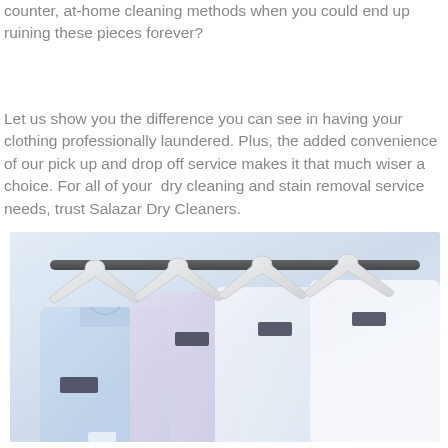counter, at-home cleaning methods when you could end up ruining these pieces forever?
Let us show you the difference you can see in having your clothing professionally laundered. Plus, the added convenience of our pick up and drop off service makes it that much wiser a choice. For all of your dry cleaning and stain removal service needs, trust Salazar Dry Cleaners.
[Figure (photo): Photo of multiple dress shirts hanging on white plastic hangers on a black rack, predominantly white and light blue shirts with small dark label tags, clean and freshly laundered appearance]